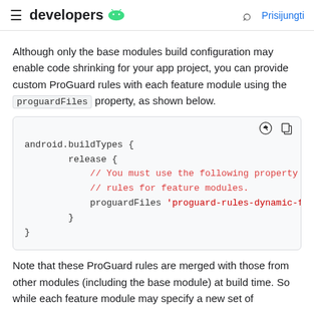developers  [Android logo]  [search]  Prisijungti
Although only the base modules build configuration may enable code shrinking for your app project, you can provide custom ProGuard rules with each feature module using the proguardFiles property, as shown below.
[Figure (screenshot): Code block showing android.buildTypes { release { // You must use the following property t // rules for feature modules. proguardFiles 'proguard-rules-dynamic-fe } }]
Note that these ProGuard rules are merged with those from other modules (including the base module) at build time. So while each feature module may specify a new set of